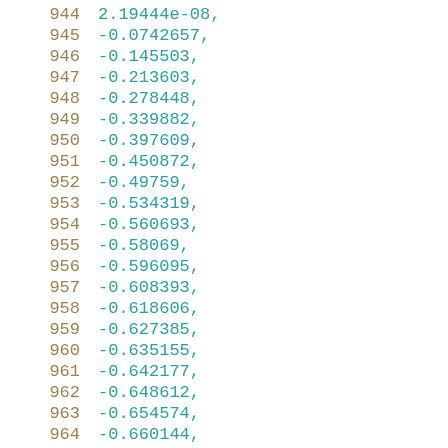944    2.19444e-08,
945    -0.0742657,
946    -0.145503,
947    -0.213603,
948    -0.278448,
949    -0.339882,
950    -0.397609,
951    -0.450872,
952    -0.49759,
953    -0.534319,
954    -0.560693,
955    -0.58069,
956    -0.596095,
957    -0.608393,
958    -0.618606,
959    -0.627385,
960    -0.635155,
961    -0.642177,
962    -0.648612,
963    -0.654574,
964    -0.660144,